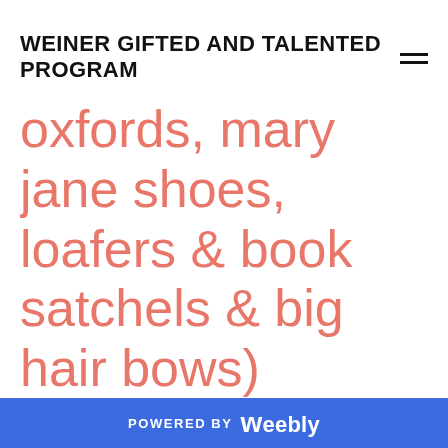WEINER GIFTED AND TALENTED PROGRAM
oxfords, mary jane shoes, loafers & book satchels & big hair bows)
Peggy's dress needs to be "over the top" --she is the top dog!
...you guys might look for someone who
POWERED BY weebly